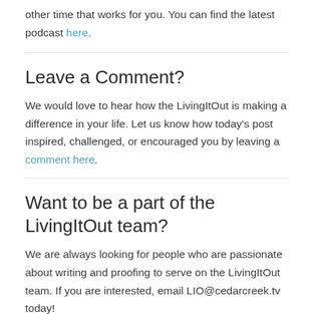other time that works for you. You can find the latest podcast here.
Leave a Comment?
We would love to hear how the LivingItOut is making a difference in your life. Let us know how today’s post inspired, challenged, or encouraged you by leaving a comment here.
Want to be a part of the LivingItOut team?
We are always looking for people who are passionate about writing and proofing to serve on the LivingItOut team. If you are interested, email LIO@cedarcreek.tv today!